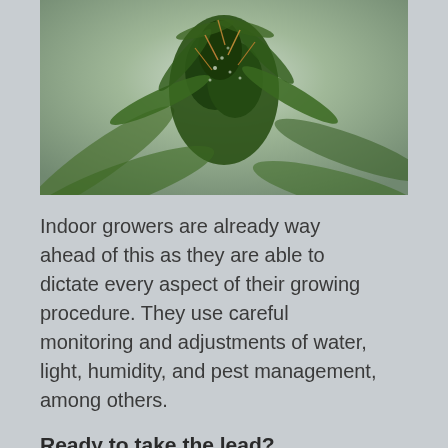[Figure (photo): Close-up macro photograph of a cannabis plant flower/bud with green leaves and trichomes, on a light gray-green background]
Indoor growers are already way ahead of this as they are able to dictate every aspect of their growing procedure. They use careful monitoring and adjustments of water, light, humidity, and pest management, among others.
Ready to take the lead?